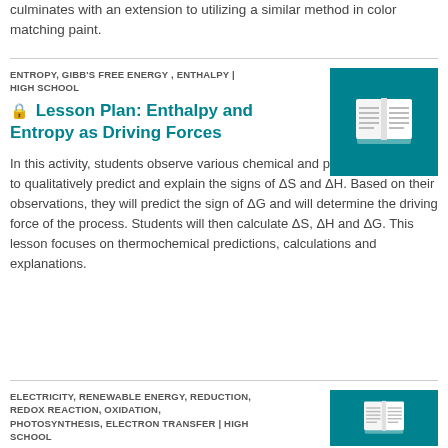culminates with an extension to utilizing a similar method in color matching paint.
ENTROPY, GIBB'S FREE ENERGY , ENTHALPY | HIGH SCHOOL
Lesson Plan: Enthalpy and Entropy as Driving Forces
[Figure (illustration): Teal/green square with white open book icon]
In this activity, students observe various chemical and physical processes to qualitatively predict and explain the signs of ΔS and ΔH. Based on their observations, they will predict the sign of ΔG and will determine the driving force of the process. Students will then calculate ΔS, ΔH and ΔG. This lesson focuses on thermochemical predictions, calculations and explanations.
ELECTRICITY, RENEWABLE ENERGY, REDUCTION, REDOX REACTION, OXIDATION, PHOTOSYNTHESIS, ELECTRON TRANSFER | HIGH SCHOOL
[Figure (illustration): Teal/green square with white open book icon]